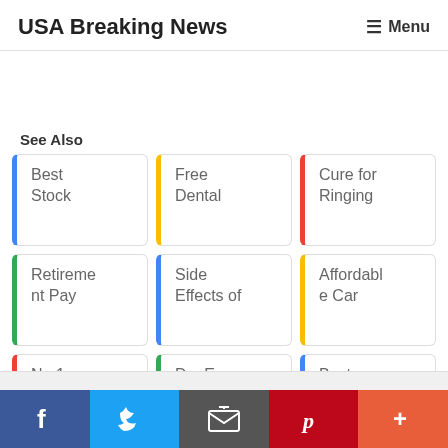USA Breaking News    ☰ Menu
See Also
Best Stock
Free Dental
Cure for Ringing
Retirement Pay
Side Effects of
Affordable Car
No.1 Stock to
Dry Eyes Blurred
Best Pain
f  Twitter  Email  Pinterest  +